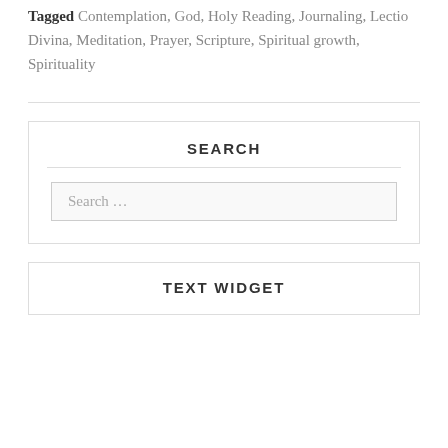Tagged Contemplation, God, Holy Reading, Journaling, Lectio Divina, Meditation, Prayer, Scripture, Spiritual growth, Spirituality
SEARCH
Search ...
TEXT WIDGET